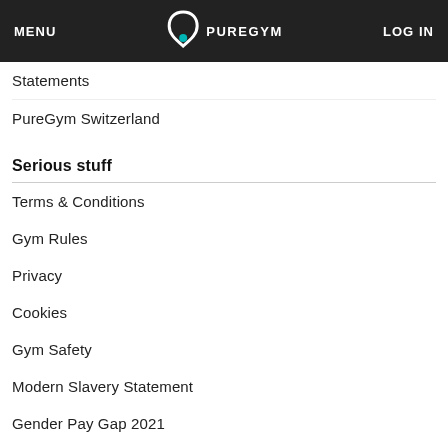MENU  PUREGYM  LOG IN
Statements
PureGym Switzerland
Serious stuff
Terms & Conditions
Gym Rules
Privacy
Cookies
Gym Safety
Modern Slavery Statement
Gender Pay Gap 2021
Tax Strategy
Coronavirus (COVID) Special...